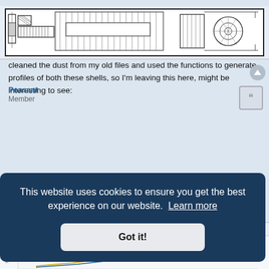[Figure (engineering-diagram): Technical cross-section engineering diagram of a shell or projectile component, showing detailed mechanical cross-sections with hatching, dimensions, and internal structure views in black and white.]
Peasant
Member
Re: 8,8 cm PzGr 39 Performance
#97  31 May 2020, 20:16
This talk reminded me about the old project of mine, about studying the influence of shell's nose shape on its ballistic performance. I've cleaned the dust from my old files and used the functions to generate profiles of both these shells, so I'm leaving this here, might be interesting to see:
Shell nose shape comparison: 7.5cm PzGr 39 (CRB 1.1) and 8.8 cm PzGr 39 (CRB 1.437)
This website uses cookies to ensure you get the best experience on our website.  Learn more
Got it!